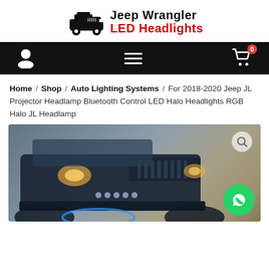[Figure (logo): Jeep Wrangler LED Headlights logo with black Jeep icon and text 'Jeep Wrangler' in black and 'LED Headlights' in red]
[Figure (screenshot): Black navigation bar with user icon, hamburger menu icon, and shopping cart with red badge showing 0]
Home / Shop / Auto Lighting Systems / For 2018-2020 Jeep JL Projector Headlamp Bluetooth Control LED Halo Headlights RGB Halo JL Headlamp
[Figure (photo): Front close-up of a dark blue Jeep Wrangler JL showing headlights and grille with search magnifier icon overlay and WhatsApp button in bottom-right corner]